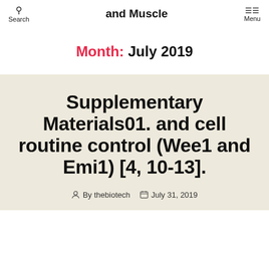Search  and Muscle  Menu
Month: July 2019
Supplementary Materials01. and cell routine control (Wee1 and Emi1) [4, 10-13].
By thebiotech  July 31, 2019